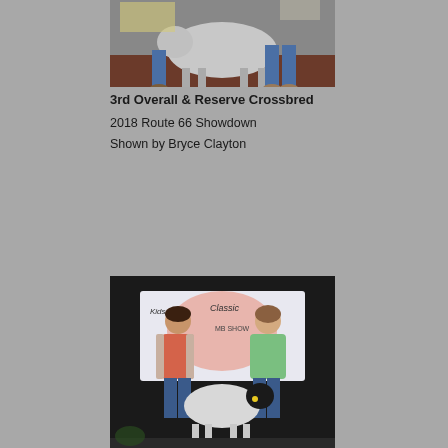[Figure (photo): Photo of a crossbred show animal (sheep/goat) being shown at an agricultural event, with handlers visible in background]
3rd Overall & Reserve Crossbred
2018 Route 66 Showdown
Shown by Bryce Clayton
[Figure (photo): Photo of two women posing with a white show lamb in front of a banner reading 'Kids Classic Lamb Show']